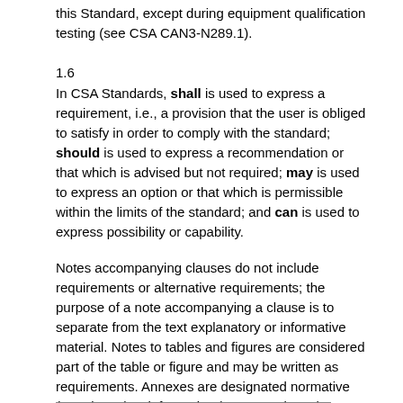this Standard, except during equipment qualification testing (see CSA CAN3-N289.1).
1.6
In CSA Standards, shall is used to express a requirement, i.e., a provision that the user is obliged to satisfy in order to comply with the standard; should is used to express a recommendation or that which is advised but not required; may is used to express an option or that which is permissible within the limits of the standard; and can is used to express possibility or capability.
Notes accompanying clauses do not include requirements or alternative requirements; the purpose of a note accompanying a clause is to separate from the text explanatory or informative material. Notes to tables and figures are considered part of the table or figure and may be written as requirements. Annexes are designated normative (mandatory) or informative (non-mandatory) to define their application.